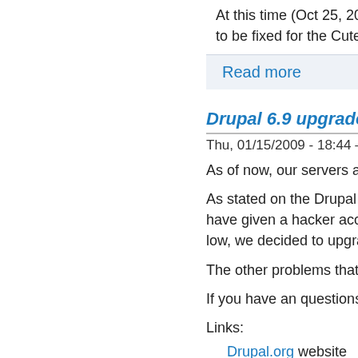At this time (Oct 25, 2008) to be fixed for the CuteMe
Read more
Drupal 6.9 upgrade
Thu, 01/15/2009 - 18:44 —
As of now, our servers are
As stated on the Drupal w have given a hacker acce low, we decided to upgrade
The other problems that Dr
If you have an questions o
Links:
Drupal.org website
Technical informati